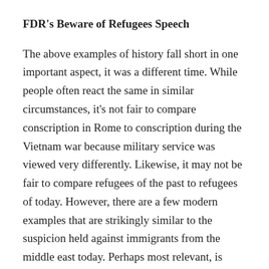FDR's Beware of Refugees Speech
The above examples of history fall short in one important aspect, it was a different time. While people often react the same in similar circumstances, it's not fair to compare conscription in Rome to conscription during the Vietnam war because military service was viewed very differently. Likewise, it may not be fair to compare refugees of the past to refugees of today. However, there are a few modern examples that are strikingly similar to the suspicion held against immigrants from the middle east today. Perhaps most relevant, is Jewish migrants during World War II. Jews